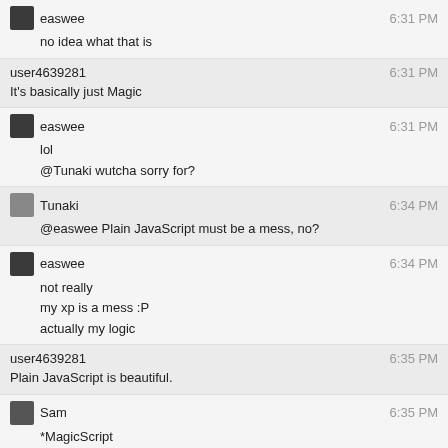easwee | 6:31 PM | no idea what that is
user4639281 | 6:31 PM | It's basically just Magic
easwee | 6:31 PM | lol | @Tunaki wutcha sorry for?
Tunaki | 6:34 PM | @easwee Plain JavaScript must be a mess, no?
easwee | 6:34 PM | not really | my xp is a mess :P | actually my logic
user4639281 | 6:35 PM | Plain JavaScript is beautiful.
Sam | 6:35 PM | *MagicScript
user4639281 | 6:35 PM | Yeah, that one.
Bhargav Rao | 6:36 PM